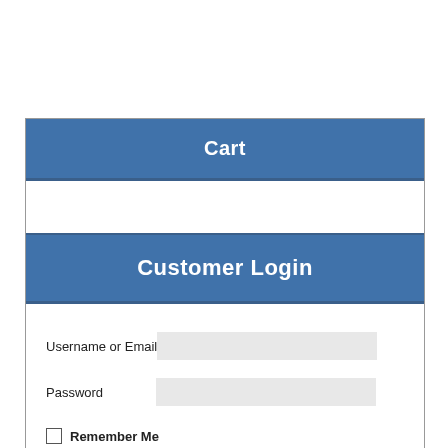Cart
Customer Login
Username or Email
Password
Remember Me
Log In